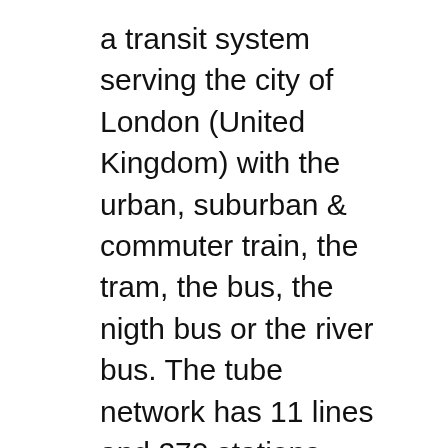a transit system serving the city of London (United Kingdom) with the urban, suburban & commuter train, the tram, the bus, the nigth bus or the river bus. The tube network has 11 lines and 270 stations forming a rail network of 249 miles (402 km)., London Overground TfL Rail London Trams Piccadilly Waterloo & City Jubilee Hammersmith & City Northern District District open weekends and on some public holidays Emirates Air Line cable car (special fares apply) Check before you travel B§ Heathrow TfL Rail customers should change at Terminals 2 & 3 for free rail transfer to Terminal 5.-----B§ Hounslow West Step-free access for manual.